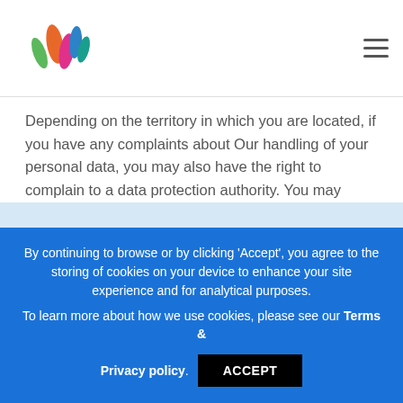Depending on the territory in which you are located, if you have any complaints about Our handling of your personal data, you may also have the right to complain to a data protection authority. You may contact the data protection authority or the equivalent in your territory for more information.
By continuing to browse or by clicking 'Accept', you agree to the storing of cookies on your device to enhance your site experience and for analytical purposes. To learn more about how we use cookies, please see our Terms & Privacy policy.
ACCEPT